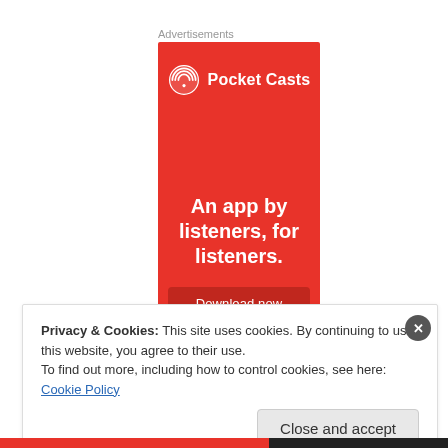Advertisements
[Figure (illustration): Pocket Casts advertisement banner on red background. Shows Pocket Casts logo (icon + text), tagline 'An app by listeners, for listeners.' and a 'Download now' button.]
Privacy & Cookies: This site uses cookies. By continuing to use this website, you agree to their use.
To find out more, including how to control cookies, see here: Cookie Policy
Close and accept